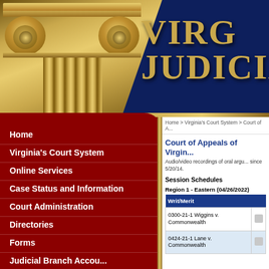[Figure (illustration): Virginia Judicial System website header with golden Ionic column capital on dark navy blue background and gold text reading VIRG... JUDICIA...]
Home > Virginia's Court System > Court of A...
Court of Appeals of Virgin...
Audio/video recordings of oral argu... since 5/20/14.
Session Schedules
Region 1 - Eastern (04/26/2022)
| Writ/Merit |  |
| --- | --- |
| 0300-21-1 Wiggins v. Commonwealth |  |
| 0424-21-1 Lane v. Commonwealth |  |
Home
Virginia's Court System
Online Services
Case Status and Information
Court Administration
Directories
Forms
Judicial Branch Accou...